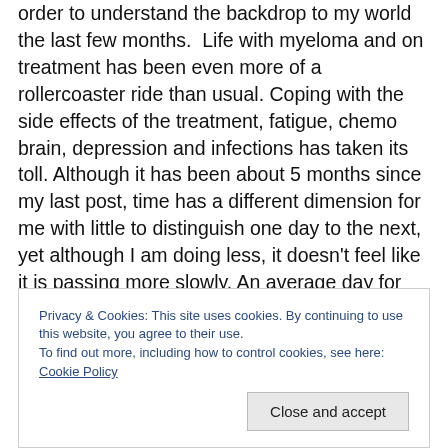order to understand the backdrop to my world the last few months. Life with myeloma and on treatment has been even more of a rollercoaster ride than usual. Coping with the side effects of the treatment, fatigue, chemo brain, depression and infections has taken its toll. Although it has been about 5 months since my last post, time has a different dimension for me with little to distinguish one day to the next, yet although I am doing less, it doesn't feel like it is passing more slowly. An average day for me might consist of a hospital appointment, going shopping or an hour in the garden or a meet up with a friend or watching
Privacy & Cookies: This site uses cookies. By continuing to use this website, you agree to their use.
To find out more, including how to control cookies, see here: Cookie Policy